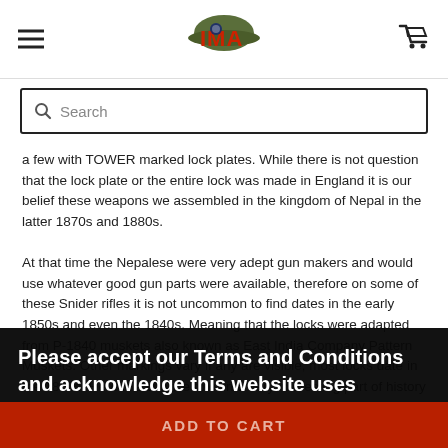IMA (logo) with hamburger menu and cart icon
Search
a few with TOWER marked lock plates. While there is not question that the lock plate or the entire lock was made in England it is our belief these weapons we assembled in the kingdom of Nepal in the latter 1870s and 1880s.

At that time the Nepalese were very adept gun makers and would use whatever good gun parts were available, therefore on some of these Snider rifles it is not uncommon to find dates in the early 1850s and even the 1840s. Meaning that the locks were adapted from P-1840 muskets also known as East India Company Pattern Muskets. Other markings vary if any are visible, most locks date in the 1850s. Here is a chance to own a very interesting part of history of which very few exist.

Of fine sound and complete condition, these are the best we have, and have been inspected to be in complete condition and 95% cleaned by our staff. Please be aware, that the remaining 5% of cleaning is purposely left to the buyer, as the risk of over cleaning can effe...
Please accept our Terms and Conditions and acknowledge this website uses cookies.
Learn More
Accept
ADD TO CART